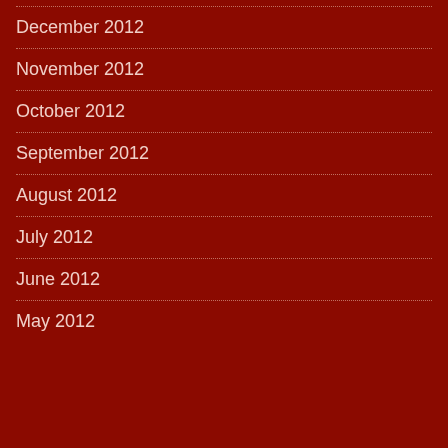December 2012
November 2012
October 2012
September 2012
August 2012
July 2012
June 2012
May 2012